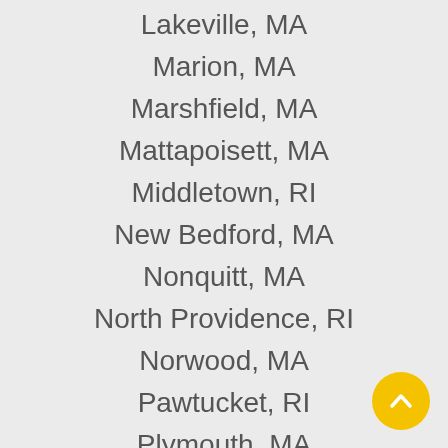Lakeville, MA
Marion, MA
Marshfield, MA
Mattapoisett, MA
Middletown, RI
New Bedford, MA
Nonquitt, MA
North Providence, RI
Norwood, MA
Pawtucket, RI
Plymouth, MA
Portsmouth, RI
Providence, RI
Raynham, MA
Rehoboth, MA